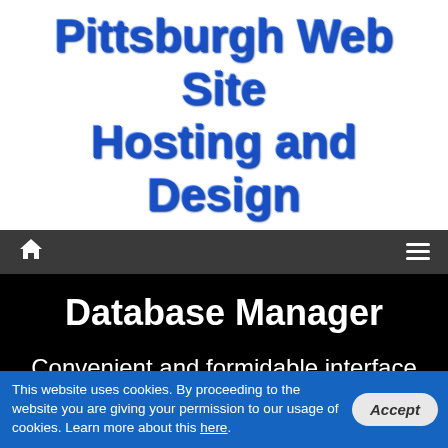Pittsburgh Web Site Hosting and Design
[Figure (screenshot): Dark navigation bar with home icon on left and hamburger menu icon on right]
Database Manager
Convenient and formidable interface for database management
Watch Video
Live Chat Offline
This website uses cookies. By proceeding to the website you are giving your permission to our usage of cookies. Learn more about this here.
Accept